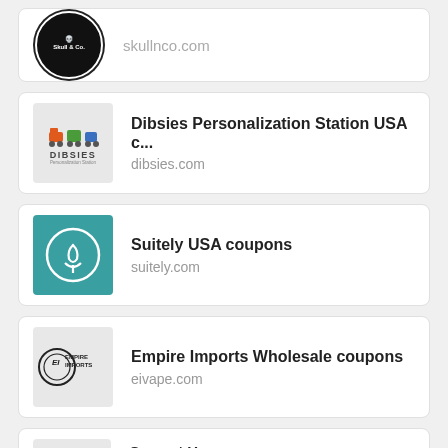[Figure (logo): Skull & Co. circular black logo with skullnco.com URL]
[Figure (logo): Dibsies Personalization Station USA logo with dibsies.com URL]
[Figure (logo): Suitely teal logo with suitely.com URL]
[Figure (logo): Empire Imports Wholesale logo with eivape.com URL]
[Figure (logo): Current Home coupons logo (partially visible)]